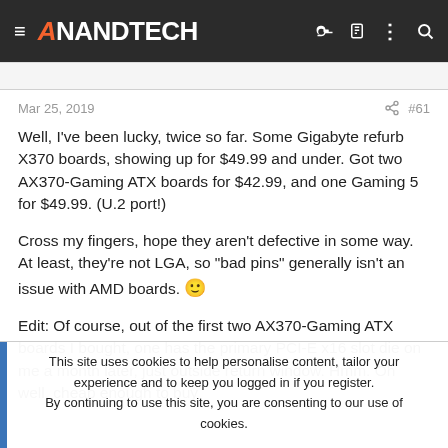AnandTech
Mar 25, 2019   #61
Well, I've been lucky, twice so far. Some Gigabyte refurb X370 boards, showing up for $49.99 and under. Got two AX370-Gaming ATX boards for $42.99, and one Gaming 5 for $49.99. (U.2 port!)
Cross my fingers, hope they aren't defective in some way. At least, they're not LGA, so "bad pins" generally isn't an issue with AMD boards. 🙂
Edit: Of course, out of the first two AX370-Gaming ATX boards I bought, one has the primary PCI-E x16 slot die on me a month later, just outside return window. Hmm. Oh well, cheap enough to buy
This site uses cookies to help personalise content, tailor your experience and to keep you logged in if you register.
By continuing to use this site, you are consenting to our use of cookies.